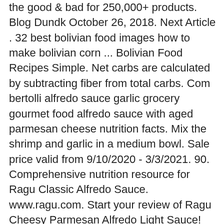the good & bad for 250,000+ products. Blog Dundk October 26, 2018. Next Article . 32 best bolivian food images how to make bolivian corn ... Bolivian Food Recipes Simple. Net carbs are calculated by subtracting fiber from total carbs. Com bertolli alfredo sauce garlic grocery gourmet food alfredo sauce with aged parmesan cheese nutrition facts. Mix the shrimp and garlic in a medium bowl. Sale price valid from 9/10/2020 - 3/3/2021. 90. Comprehensive nutrition resource for Ragu Classic Alfredo Sauce. www.ragu.com. Start your review of Ragu Cheesy Parmesan Alfredo Light Sauce! Calories in Honey Mustard Roasted Chicken. Would you like any pasta in the recipe? Calories in Cola Chicken . Alfredo Sauce Francesco 1/4 cup 70.1 calories 4.0 grams carbs 6.0 grams fat 1.0 grams protein 0 grams fiber 0 mg cholesterol 3.5 grams saturated fat 430.1 mg ... Foods. 1 g. There are 90 calories in a 1/4 cup serving of Ragu Classic Alfredo Pasta Sauce. Set aside. Fat. Calories per serving of Ragu Fettuccine Alfredo 200 calories of Barilla Linguine, (2 oz) 77 calories of Ham, regular (11% fat), (42.50 grams) 62 calories of Cheesy Ragu (Light Parmesan Alfredo), (0.22